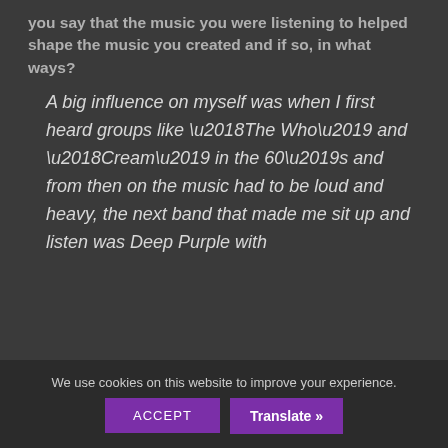you say that the music you were listening to helped shape the music you created and if so, in what ways?
A big influence on myself was when I first heard groups like ‘The Who’ and ‘Cream’ in the 60’s and from then on the music had to be loud and heavy, the next band that made me sit up and listen was Deep Purple with
We use cookies on this website to improve your experience.
ACCEPT
Translate »